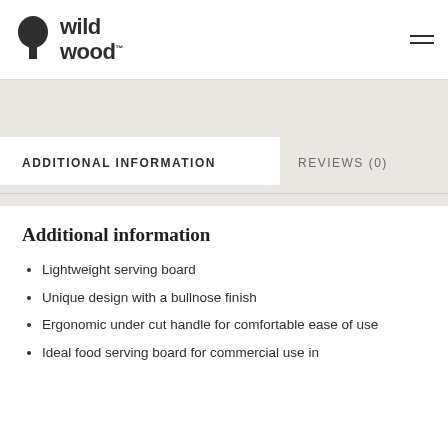[Figure (logo): Wildwood brand logo with a tree icon and bold 'wild wood' text]
ADDITIONAL INFORMATION
REVIEWS (0)
Additional information
Lightweight serving board
Unique design with a bullnose finish
Ergonomic under cut handle for comfortable ease of use
Ideal food serving board for commercial use in